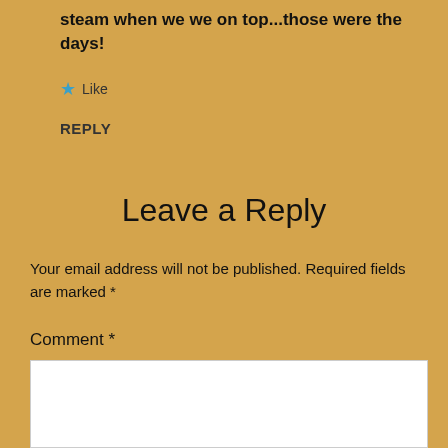steam when we we on top...those were the days!
★ Like
REPLY
Leave a Reply
Your email address will not be published. Required fields are marked *
Comment *